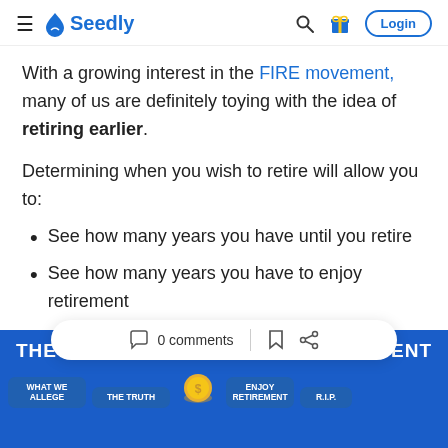Seedly — navigation bar with hamburger menu, Seedly logo, search icon, gift icon, Login button
With a growing interest in the FIRE movement, many of us are definitely toying with the idea of retiring earlier.
Determining when you wish to retire will allow you to:
See how many years you have until you retire
See how many years you have to enjoy retirement
[Figure (infographic): Blue infographic strip showing 'THE ... ENT' text with a comment bar overlay showing '0 comments' and bookmark/share icons, and bottom buttons: WHAT WE ALLEGE, THE TRUTH, ENJOY RETIREMENT, R.I.P.]